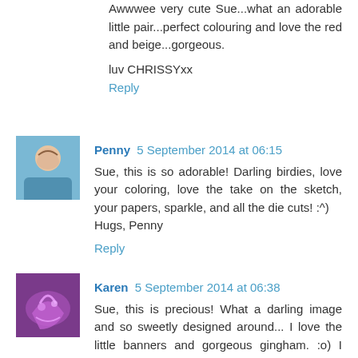Awwwee very cute Sue...what an adorable little pair...perfect colouring and love the red and beige...gorgeous.
luv CHRISSYxx
Reply
Penny 5 September 2014 at 06:15
Sue, this is so adorable! Darling birdies, love your coloring, love the take on the sketch, your papers, sparkle, and all the die cuts! :^)
Hugs, Penny
Reply
Karen 5 September 2014 at 06:38
Sue, this is precious! What a darling image and so sweetly designed around... I love the little banners and gorgeous gingham. :o) I hope you have a blessed weekend with your kiddos. I'll be sending you extra hugs on Monday when